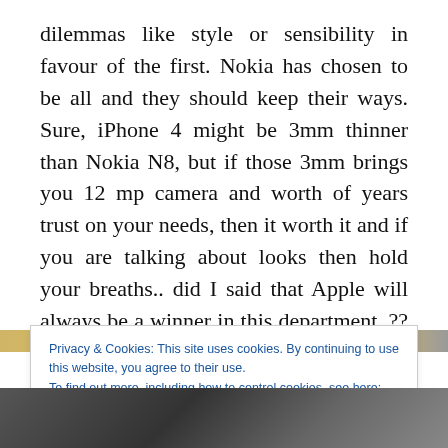dilemmas like style or sensibility in favour of the first. Nokia has chosen to be all and they should keep their ways. Sure, iPhone 4 might be 3mm thinner than Nokia N8, but if those 3mm brings you 12 mp camera and worth of years trust on your needs, then it worth it and if you are talking about looks then hold your breaths.. did I said that Apple will always be a winner in this department..?? I apologize … 😉
[Figure (photo): Partial image strip visible at top of cookie bar area, showing golden/amber color suggesting a phone or device image]
Privacy & Cookies: This site uses cookies. By continuing to use this website, you agree to their use.
To find out more, including how to control cookies, see here: Cookie Policy
[Figure (photo): Bottom portion of page showing a dark image, likely a phone or device photograph]